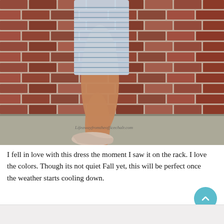[Figure (photo): Close-up photo of a person wearing a blue and white striped/patterned pencil dress, standing against a red brick wall. Only the lower body is visible from waist to feet. The person wears nude/light pink low-heeled pumps. A watermark reads 'Lifeawayfromtheofficechalr.com' in the lower right of the image.]
I fell in love with this dress the moment I saw it on the rack. I love the colors. Though its not quiet Fall yet, this will be perfect once the weather starts cooling down.